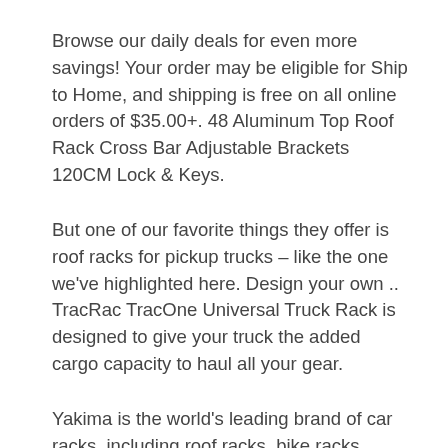Browse our daily deals for even more savings! Your order may be eligible for Ship to Home, and shipping is free on all online orders of $35.00+. 48 Aluminum Top Roof Rack Cross Bar Adjustable Brackets 120CM Lock & Keys.
But one of our favorite things they offer is roof racks for pickup trucks – like the one we've highlighted here. Design your own .. TracRac TracOne Universal Truck Rack is designed to give your truck the added cargo capacity to haul all your gear.
Yakima is the world's leading brand of car racks, including roof racks, bike racks, cargo trailers and boxes, canoe and kayak racks, ski racks, and more. Check here for special coupons and promotions.